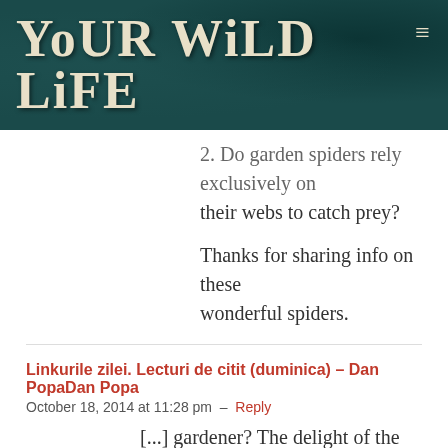[Figure (screenshot): Your Wild Life website header banner with teal/dark green textured background and hamburger menu icon]
2. Do garden spiders rely exclusively on their webs to catch prey?
Thanks for sharing info on these wonderful spiders.
Linkurile zilei. Lecturi de citit (duminica) – Dan PopaDan Popa
October 18, 2014 at 11:28 pm – Reply
[...] gardener? The delight of the garden spider. Nice little [...]
Spider Book! | Arthropod Ecology   February 12, 2015 at 8:00 am – Reply